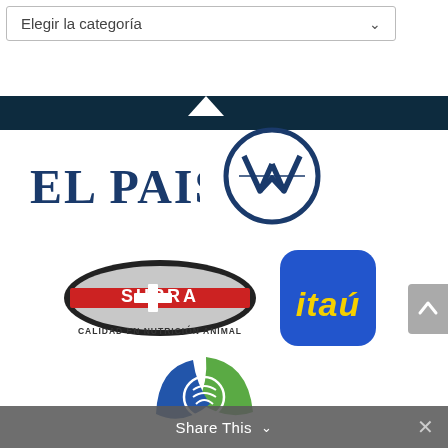[Figure (screenshot): Dropdown selector box with text 'Elegir la categoría' and a chevron arrow]
[Figure (logo): EL PAIS logo in bold dark blue serif text]
[Figure (logo): Volkswagen VW circular logo in dark navy blue]
[Figure (logo): Supra - Calidad en Nutrición Animal logo with oval badge and red/grey design]
[Figure (logo): Itaú bank logo: blue rounded square with yellow bold italic 'itaú' text]
[Figure (logo): Partial logo at bottom: blue and green leaf shape with circular design]
Share This ∨  ×